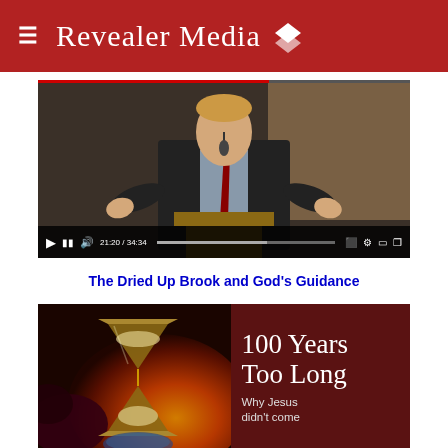≡  Revealer Media
[Figure (screenshot): Video player screenshot showing a man in a suit speaking at a podium with hands gesturing, brick wall background. Video controls visible at bottom with progress at 21:20/34:34.]
The Dried Up Brook and God's Guidance
[Figure (illustration): Book cover or promotional image showing an hourglass with fiery/dramatic background on the left, and text '100 Years Too Long' with subtitle 'Why Jesus didn't come' on a dark red background on the right.]